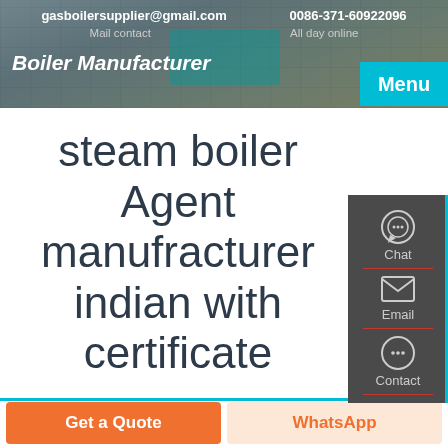gasboilersupplier@gmail.com  0086-371-60922096
Mail contact  All day online
steam boiler Agent manufracturer indian with certificate
[Figure (photo): Industrial factory interior showing ceiling trusses and piping]
Get a Quote
WhatsApp